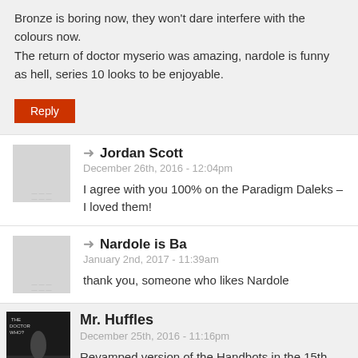Bronze is boring now, they won't dare interfere with the colours now.
The return of doctor myserio was amazing, nardole is funny as hell, series 10 looks to be enjoyable.
Reply
Jordan Scott
December 26th, 2016 - 12:04pm
I agree with you 100% on the Paradigm Daleks – I loved them!
Nardole is Ba
January 2nd, 2017 - 11:39am
thank you, someone who likes Nardole
Mr. Huffles
December 25th, 2016 - 11:16pm
Revamped version of the Handbots in the 15th picture maybe? Cant wait to meet Bill!!!! Why is there so many people in the TARDIS' console room though?